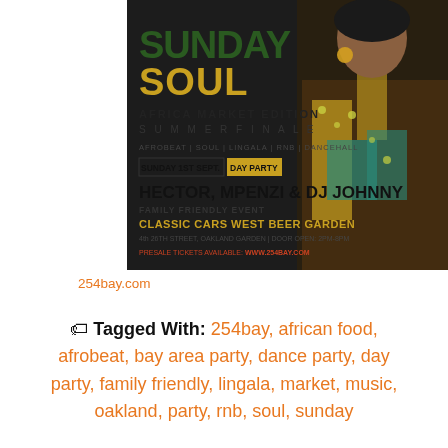[Figure (illustration): Event flyer for Sunday Soul - Africa Market Edition Summer Finale. Shows text: SUNDAY SOUL, AFRICA MARKET EDITION, SUMMER FINALE, AFROBEAT | SOUL | LINGALA | RNB | DANCEHALL, SUNDAY 1ST SEPT. | DAY PARTY, HECTOR, MPENZI & DJ JOHNNY, FAMILY FRIENDLY EVENT, CLASSIC CARS WEST BEER GARDEN, 4th 26TH STREET, OAKLAND GARDEN | DOOR OPEN: 2PM-8PM, PRESALE TICKETS AVAILABLE: WWW.254BAY.COM. Features a woman in colorful African print clothing.]
254bay.com
Tagged With: 254bay, african food, afrobeat, bay area party, dance party, day party, family friendly, lingala, market, music, oakland, party, rnb, soul, sunday